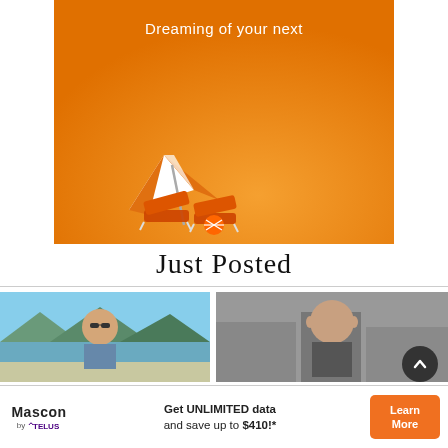[Figure (illustration): Orange background advertisement image with beach chairs and umbrella in orange and white colors, text 'Dreaming of your next' at top in white]
Just Posted
[Figure (photo): Two partial portrait photos side by side: left shows a man with sunglasses outdoors near water and mountains, right shows a bald man against an urban background]
[Figure (infographic): Mascon by TELUS advertisement banner: 'Get UNLIMITED data and save up to $410!*' with Learn More button]